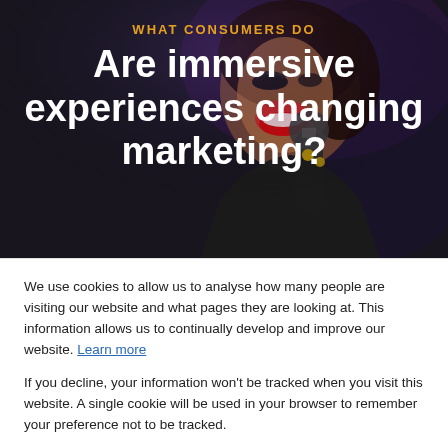[Figure (photo): A dark-background photo of a woman singer performing with a microphone, wearing a leather jacket, with dramatic makeup and jewelry.]
WHAT CONSUMERS DO
Are immersive experiences changing marketing?
We use cookies to allow us to analyse how many people are visiting our website and what pages they are looking at. This information allows us to continually develop and improve our website. Learn more
If you decline, your information won't be tracked when you visit this website. A single cookie will be used in your browser to remember your preference not to be tracked.